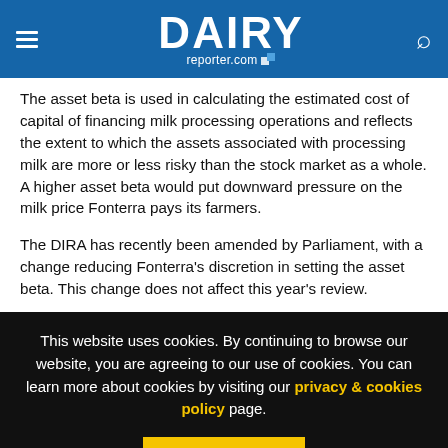DAIRY reporter.com
The asset beta is used in calculating the estimated cost of capital of financing milk processing operations and reflects the extent to which the assets associated with processing milk are more or less risky than the stock market as a whole. A higher asset beta would put downward pressure on the milk price Fonterra pays its farmers.
The DIRA has recently been amended by Parliament, with a change reducing Fonterra's discretion in setting the asset beta. This change does not affect this year's review.
This website uses cookies. By continuing to browse our website, you are agreeing to our use of cookies. You can learn more about cookies by visiting our privacy & cookies policy page.
I Agree